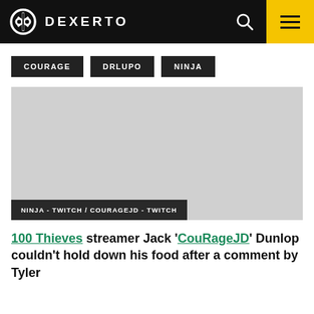DEXERTO
COURAGE
DRLUPO
NINJA
[Figure (photo): Split image area with Ninja - Twitch and CourageJD - Twitch branding]
NINJA - TWITCH / COURAGEJD - TWITCH
100 Thieves streamer Jack 'CouRageJD' Dunlop couldn't hold down his food after a comment by Tyler